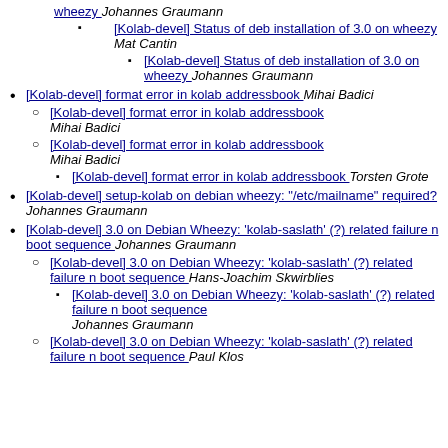wheezy  Johannes Graumann (continued from above, sub-item with bullet)
[Kolab-devel] Status of deb installation of 3.0 on wheezy  Mat Cantin
[Kolab-devel] Status of deb installation of 3.0 on wheezy  Johannes Graumann
[Kolab-devel] format error in kolab addressbook  Mihai Badici
[Kolab-devel] format error in kolab addressbook  Mihai Badici
[Kolab-devel] format error in kolab addressbook  Mihai Badici
[Kolab-devel] format error in kolab addressbook  Torsten Grote
[Kolab-devel] setup-kolab on debian wheezy: "/etc/mailname" required?  Johannes Graumann
[Kolab-devel] 3.0 on Debian Wheezy: 'kolab-saslath' (?) related failure n boot sequence  Johannes Graumann
[Kolab-devel] 3.0 on Debian Wheezy: 'kolab-saslath' (?) related failure n boot sequence  Hans-Joachim Skwirblies
[Kolab-devel] 3.0 on Debian Wheezy: 'kolab-saslath' (?) related failure n boot sequence  Johannes Graumann
[Kolab-devel] 3.0 on Debian Wheezy: 'kolab-saslath' (?) related failure n boot sequence  Paul Klos